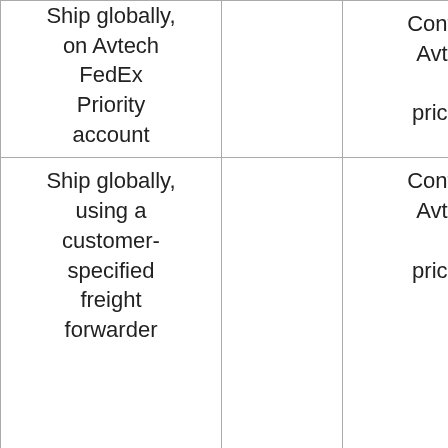| Ship globally, on Avtech FedEx Priority account |  | Contact Avtech for pricing. | Excludes the above countries. |
| Ship globally, using a customer-specified freight forwarder |  | Contact Avtech for pricing. | Excludes the above countries. No recommended. Due to the increased likelihood of shipping damage, the ATA3 option (heavy-duty |